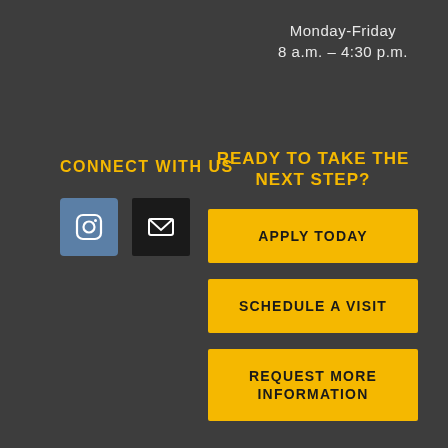Monday-Friday
8 a.m. – 4:30 p.m.
CONNECT WITH US
[Figure (illustration): Instagram icon (white camera outline on blue-gray square) and email icon (white envelope on black square)]
READY TO TAKE THE NEXT STEP?
APPLY TODAY
SCHEDULE A VISIT
REQUEST MORE INFORMATION